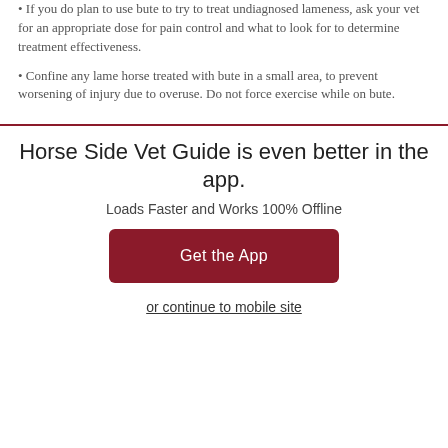If you do plan to use bute to try to treat undiagnosed lameness, ask your vet for an appropriate dose for pain control and what to look for to determine treatment effectiveness.
Confine any lame horse treated with bute in a small area, to prevent worsening of injury due to overuse. Do not force exercise while on bute.
Horse Side Vet Guide is even better in the app.
Loads Faster and Works 100% Offline
Get the App
or continue to mobile site